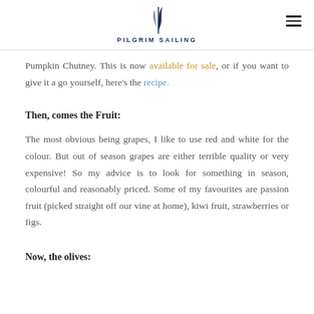PILGRIM SAILING
Pumpkin Chutney. This is now available for sale, or if you want to give it a go yourself, here's the recipe.
Then, comes the Fruit:
The most obvious being grapes, I like to use red and white for the colour. But out of season grapes are either terrible quality or very expensive! So my advice is to look for something in season, colourful and reasonably priced. Some of my favourites are passion fruit (picked straight off our vine at home), kiwi fruit, strawberries or figs.
Now, the olives: